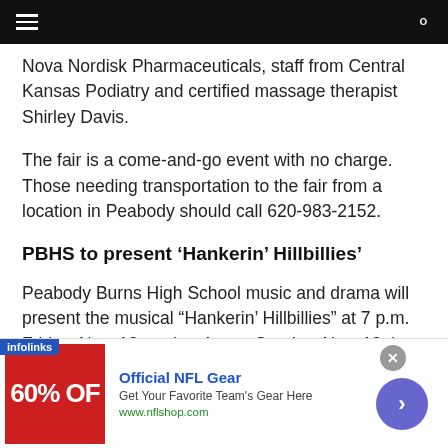[hamburger menu] [search icon]
Nova Nordisk Pharmaceuticals, staff from Central Kansas Podiatry and certified massage therapist Shirley Davis.
The fair is a come-and-go event with no charge. Those needing transportation to the fair from a location in Peabody should call 620-983-2152.
PBHS to present ‘Hankerin’ Hillbillies’
Peabody Burns High School music and drama will present the musical “Hankerin’ Hillbillies” at 7 p.m. Friday, Nov. 12, and at 4 p.m. Sunday, Nov. 13, in
[Figure (other): Advertisement banner: infolinks label, red box with '60% OFF', Official NFL Gear text, Get Your Favorite Team's Gear Here, www.nflshop.com, close button and arrow button]